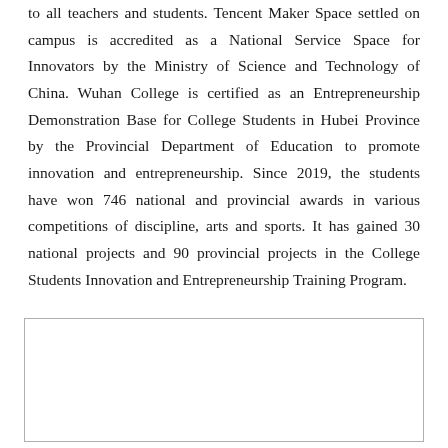to all teachers and students. Tencent Maker Space settled on campus is accredited as a National Service Space for Innovators by the Ministry of Science and Technology of China. Wuhan College is certified as an Entrepreneurship Demonstration Base for College Students in Hubei Province by the Provincial Department of Education to promote innovation and entrepreneurship. Since 2019, the students have won 746 national and provincial awards in various competitions of discipline, arts and sports. It has gained 30 national projects and 90 provincial projects in the College Students Innovation and Entrepreneurship Training Program.
[Figure (other): Empty bordered box at the bottom of the page, likely a placeholder for an image or figure.]